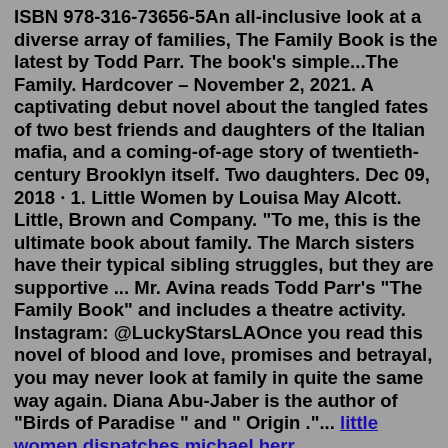ISBN 978-316-73656-5An all-inclusive look at a diverse array of families, The Family Book is the latest by Todd Parr. The book's simple...The Family. Hardcover – November 2, 2021. A captivating debut novel about the tangled fates of two best friends and daughters of the Italian mafia, and a coming-of-age story of twentieth-century Brooklyn itself. Two daughters. Dec 09, 2018 · 1. Little Women by Louisa May Alcott. Little, Brown and Company. "To me, this is the ultimate book about family. The March sisters have their typical sibling struggles, but they are supportive ... Mr. Avina reads Todd Parr's "The Family Book" and includes a theatre activity. Instagram: @LuckyStarsLAOnce you read this novel of blood and love, promises and betrayal, you may never look at family in quite the same way again. Diana Abu-Jaber is the author of "Birds of Paradise " and " Origin ."... little women.dispatches michael herr audiobookhatched bookprobably.